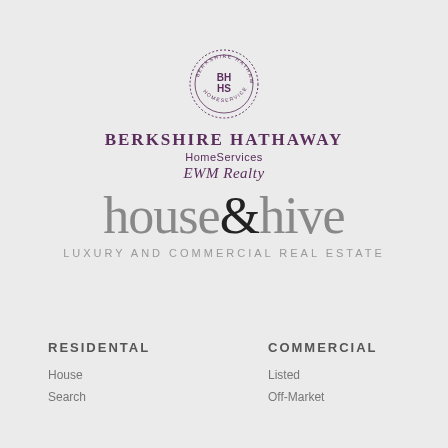[Figure (logo): Berkshire Hathaway HomeServices EWM Realty logo with circular BHHS seal]
[Figure (logo): house&hive LUXURY AND COMMERCIAL REAL ESTATE logo]
RESIDENTAL
COMMERCIAL
House
Search
Listed
Off-Market